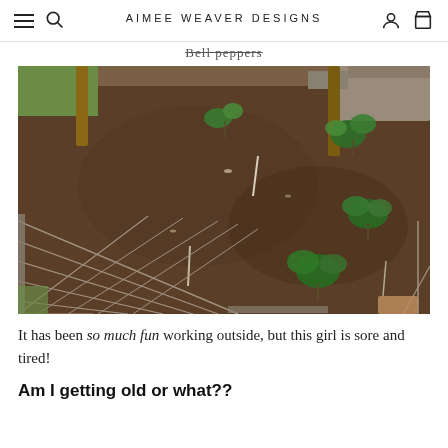AIMEE WEAVER DESIGNS
Bell peppers (strikethrough)
[Figure (photo): Overhead view of a garden bed with freshly tilled dark soil, small green seedling plants visible, surrounded by wire fencing on two sides and grass border]
It has been so much fun working outside, but this girl is sore and tired!
Am I getting old or what??